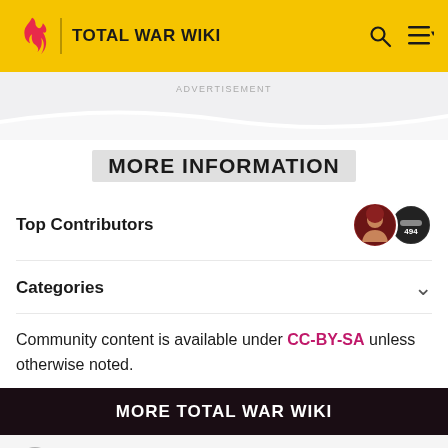TOTAL WAR WIKI
ADVERTISEMENT
MORE INFORMATION
Top Contributors
Categories
Community content is available under CC-BY-SA unless otherwise noted.
MORE TOTAL WAR WIKI
1 Fall of the Samurai